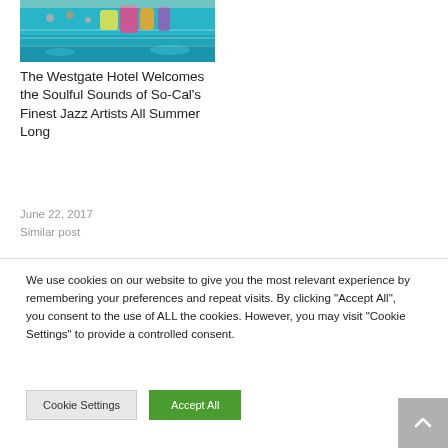[Figure (photo): Indoor swimming pool with blue water and colorful inflatable structures, people in background]
The Westgate Hotel Welcomes the Soulful Sounds of So-Cal's Finest Jazz Artists All Summer Long
June 22, 2017
Similar post
We use cookies on our website to give you the most relevant experience by remembering your preferences and repeat visits. By clicking "Accept All", you consent to the use of ALL the cookies. However, you may visit "Cookie Settings" to provide a controlled consent.
Cookie Settings
Accept All